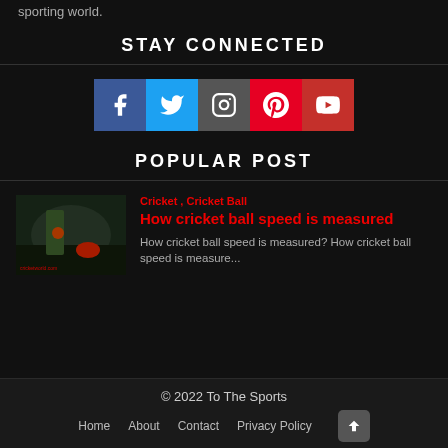sporting world.
STAY CONNECTED
[Figure (infographic): Social media icons: Facebook (blue), Twitter (light blue), Instagram (grey), Pinterest (red), YouTube (dark red)]
POPULAR POST
[Figure (photo): Cricket match photo showing bowler and batsman]
Cricket , Cricket Ball
How cricket ball speed is measured
How cricket ball speed is measured?  How cricket ball speed is measure...
© 2022 To The Sports
Home   About   Contact   Privacy Policy